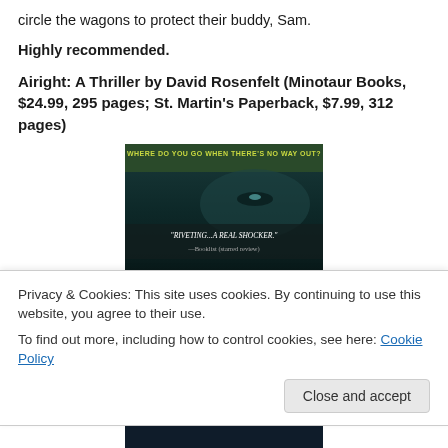circle the wagons to protect their buddy, Sam.
Highly recommended.
Airight: A Thriller by David Rosenfelt (Minotaur Books, $24.99, 295 pages; St. Martin’s Paperback, $7.99, 312 pages)
[Figure (photo): Book cover of 'Airight' by David Rosenfelt. Dark cover with text: 'WHERE DO YOU GO WHEN THERE'S NO WAY OUT?' at top in yellow/green. In middle: '"RIVETING...A REAL SHOCKER." —Booklist (starred review)'. Large white text 'David' visible at bottom.]
Privacy & Cookies: This site uses cookies. By continuing to use this website, you agree to their use.
To find out more, including how to control cookies, see here: Cookie Policy
Close and accept